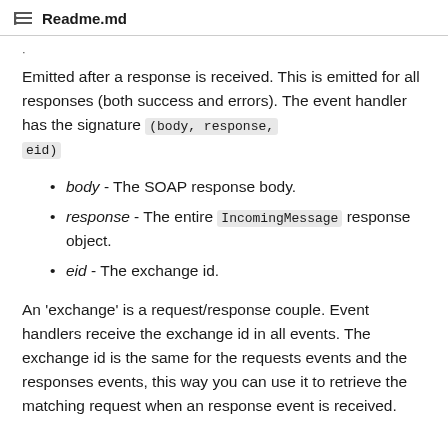Readme.md
Emitted after a response is received. This is emitted for all responses (both success and errors). The event handler has the signature (body, response, eid)
body - The SOAP response body.
response - The entire IncomingMessage response object.
eid - The exchange id.
An 'exchange' is a request/response couple. Event handlers receive the exchange id in all events. The exchange id is the same for the requests events and the responses events, this way you can use it to retrieve the matching request when an response event is received.